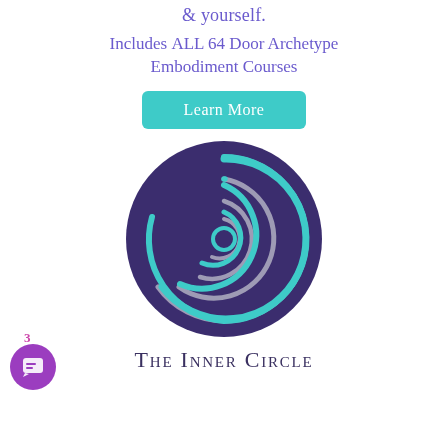& yourself.
Includes ALL 64 Door Archetype Embodiment Courses
[Figure (illustration): Teal/turquoise button labeled 'Learn More' with rounded corners on white background]
[Figure (logo): Circular dark purple logo with a grey and teal spiral/shell motif inside. The Inner Circle branding logo.]
The Inner Circle